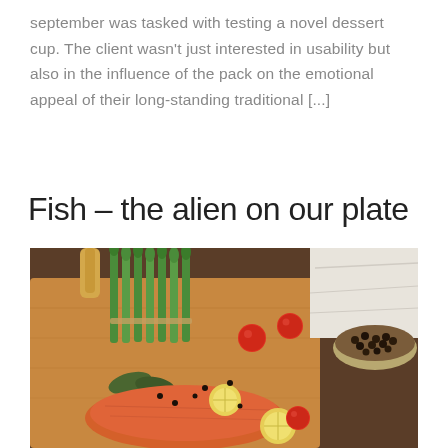september was tasked with testing a novel dessert cup. The client wasn't just interested in usability but also in the influence of the pack on the emotional appeal of their long-standing traditional [...]
Fish – the alien on our plate
[Figure (photo): A wooden cutting board with a fresh salmon fillet, lemon slices, cherry tomatoes, asparagus, bay leaves, and black peppercorns. A bowl of black peppercorns and a white cloth are visible in the upper right. A yellow/white vegetable (parsnip or similar) is in the upper left.]